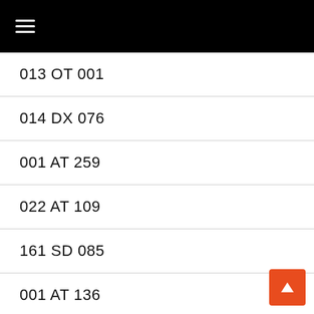☰
013 OT 001
014 DX 076
001 AT 259
022 AT 109
161 SD 085
001 AT 136
014 RC 114
014 SD 213
161 AT 027